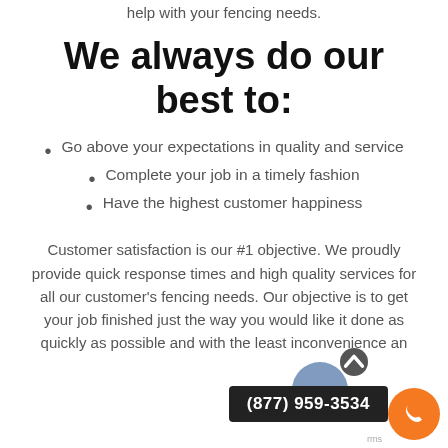help with your fencing needs.
We always do our best to:
Go above your expectations in quality and service
Complete your job in a timely fashion
Have the highest customer happiness
Customer satisfaction is our #1 objective. We proudly provide quick response times and high quality services for all our customer's fencing needs. Our objective is to get your job finished just the way you would like it done as quickly as possible and with the least inconvenience and